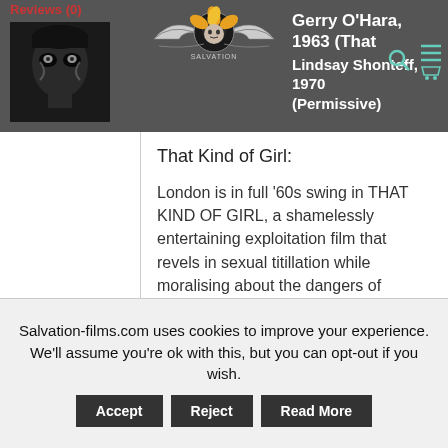Reviews (0)
[Figure (photo): Thumbnail image of a pale gothic face with dark eye makeup]
[Figure (logo): Salvation Films logo: ornate winged design with a face in the center and text SALVATION]
Gerry O'Hara, 1963 (That Kind of Girl)
Lindsay Shonteff, 1970 (Permissive)
That Kind of Girl:
London is in full ‘60s swing in THAT KIND OF GIRL, a shamelessly entertaining exploitation film that revels in sexual titillation while moralising about the dangers of
Salvation-films.com uses cookies to improve your experience. We’ll assume you’re ok with this, but you can opt-out if you wish.